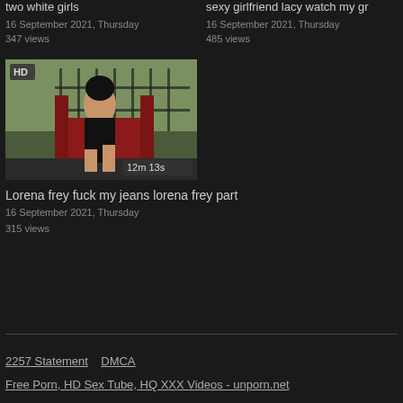two white girls
16 September 2021, Thursday
347 views
sexy girlfriend lacy watch my gr
16 September 2021, Thursday
485 views
[Figure (photo): Thumbnail image of a woman in black lingerie seated on a red chair on a balcony with iron railing. HD badge top-left, duration 12m 13s bottom-right.]
Lorena frey fuck my jeans lorena frey part
16 September 2021, Thursday
315 views
2257 Statement   DMCA
Free Porn, HD Sex Tube, HQ XXX Videos - unporn.net